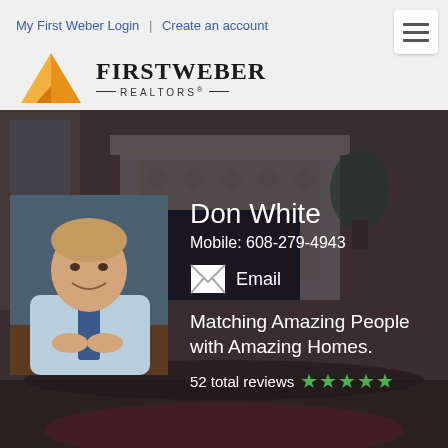My First Weber Login | Create an account
[Figure (logo): First Weber Realtors logo with orange triangular/house icon and text]
[Figure (photo): Real estate website screenshot showing agent Don White profile page with elegant room/fireplace background]
Don White
Mobile: 608-279-4943
Email
Matching Amazing People with Amazing Homes.
52 total reviews ★★★★★